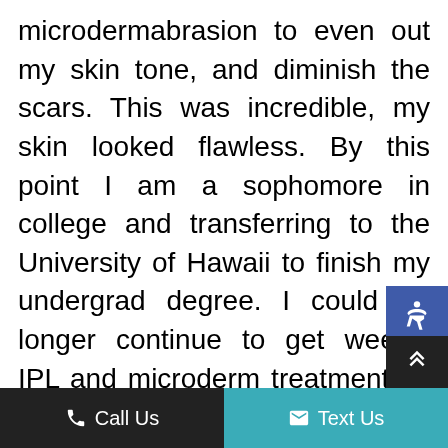microdermabrasion to even out my skin tone, and diminish the scars. This was incredible, my skin looked flawless. By this point I am a sophomore in college and transferring to the University of Hawaii to finish my undergrad degree. I could no longer continue to get weekly IPL and microderm treatments. I could also no longer fill my prescription spironolactone. My skin flared again, and worse than ever before. For the next several years because I was working on obtaining my undergraduate degree I could not seek the same type of medical attention as I had before, so I was again on my own trying
Call Us   Text Us